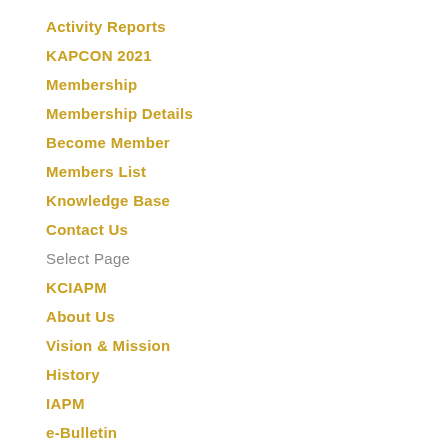Activity Reports
KAPCON 2021
Membership
Membership Details
Become Member
Members List
Knowledge Base
Contact Us
Select Page
KCIAPM
About Us
Vision & Mission
History
IAPM
e-Bulletin
Bylaws
MoA